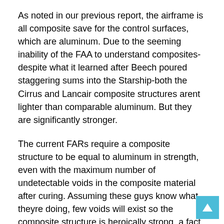As noted in our previous report, the airframe is all composite save for the control surfaces, which are aluminum. Due to the seeming inability of the FAA to understand composites-despite what it learned after Beech poured staggering sums into the Starship-both the Cirrus and Lancair composite structures arent lighter than comparable aluminum. But they are significantly stronger.
The current FARs require a composite structure to be equal to aluminum in strength, even with the maximum number of undetectable voids in the composite material after curing. Assuming these guys know what theyre doing, few voids will exist so the composite structure is heroically strong, a fact confirmed by static structural tests of both the SR20 and Lancair Columbia.
The use of aluminum for control surfaces was appropriate,